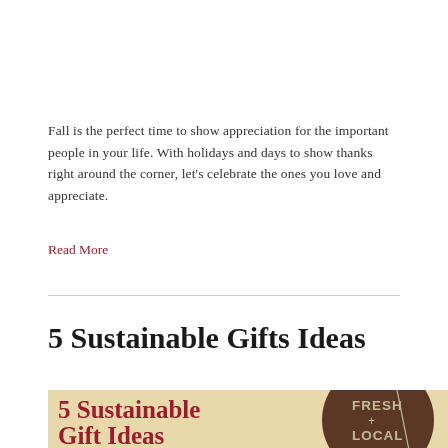Fall is the perfect time to show appreciation for the important people in your life. With holidays and days to show thanks right around the corner, let's celebrate the ones you love and appreciate.
Read More
5 Sustainable Gifts Ideas
[Figure (infographic): Infographic with beige background showing '5 Sustainable Gift Ideas' in dark red serif text on the left, and a brown circular badge on the right reading 'FRESH + LOCAL' in tan/beige text.]